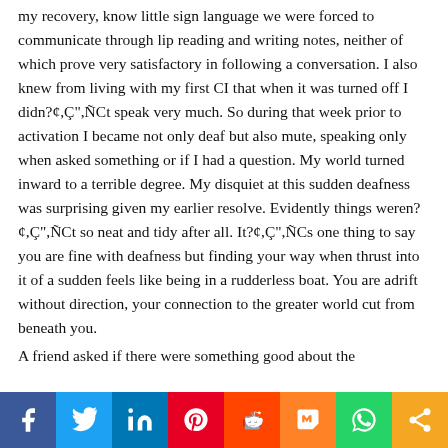my recovery, know little sign language we were forced to communicate through lip reading and writing notes, neither of which prove very satisfactory in following a conversation. I also knew from living with my first CI that when it was turned off I didn?¢,Ç",ÑCt speak very much. So during that week prior to activation I became not only deaf but also mute, speaking only when asked something or if I had a question. My world turned inward to a terrible degree. My disquiet at this sudden deafness was surprising given my earlier resolve. Evidently things weren?¢,Ç",ÑCt so neat and tidy after all. It?¢,Ç",ÑCs one thing to say you are fine with deafness but finding your way when thrust into it of a sudden feels like being in a rudderless boat. You are adrift without direction, your connection to the greater world cut from beneath you.

A friend asked if there were something good about the
[Figure (infographic): Social sharing bar with icons: Facebook (blue), Twitter (light blue), LinkedIn (dark blue), Pinterest (red), Reddit (orange-red), Mix (orange), WhatsApp (green), Share (amber/orange)]